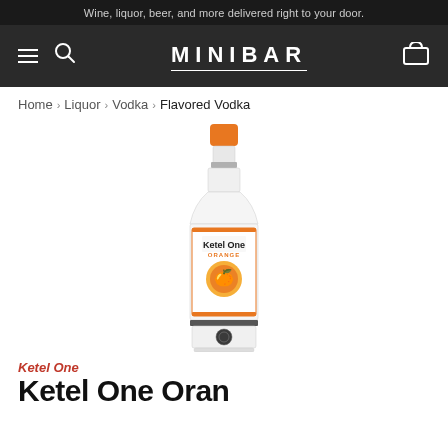Wine, liquor, beer, and more delivered right to your door.
[Figure (logo): MINIBAR website navigation bar with hamburger menu, search icon, MINIBAR logo, and cart icon on dark background]
Home > Liquor > Vodka > Flavored Vodka
[Figure (photo): Ketel One Orange flavored vodka bottle with orange cap and orange label featuring orange fruit imagery]
Ketel One
Ketel One Orange